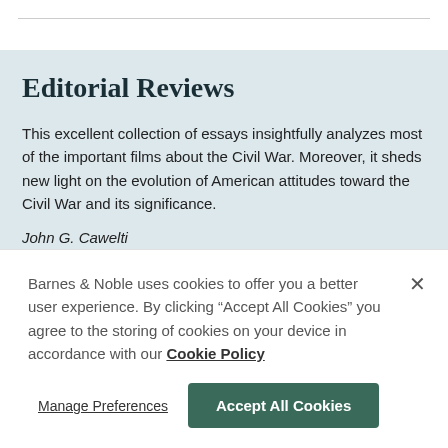Editorial Reviews
This excellent collection of essays insightfully analyzes most of the important films about the Civil War. Moreover, it sheds new light on the evolution of American attitudes toward the Civil War and its significance.
John G. Cawelti
Barnes & Noble uses cookies to offer you a better user experience. By clicking "Accept All Cookies" you agree to the storing of cookies on your device in accordance with our Cookie Policy
Manage Preferences
Accept All Cookies